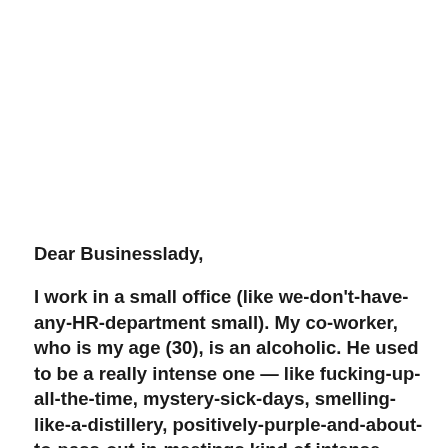Dear Businesslady,
I work in a small office (like we-don't-have-any-HR-department small). My co-worker, who is my age (30), is an alcoholic. He used to be a really intense one — like fucking-up-all-the-time, mystery-sick-days, smelling-like-a-distillery, positively-purple-and-about-to-pass-out-in-meetings kind of intense. Then he was sent on a mandatory leave of absence by the management, for detox. He came back sober, but flash forward a year and he's back to drinking at work on the regular. He's not as